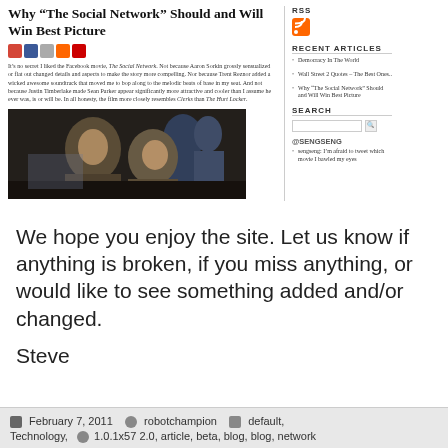Why “The Social Network” Should and Will Win Best Picture
[Figure (photo): Scene from The Social Network movie showing young men working at computers in a dimly lit room]
It’s no secret I liked the Facebook movie, The Social Network. Not because Aaron Sorkin grossly sensualized or flat out changed details and aspects to make the story more compelling. Nor because Trent Reznor added a wicked awesome soundtrack that moved me to bop along to the melodic beats of base in my seat. And not because Justin Timberlake made Sean Parker appear significantly more attractive and cooler than I assume he ever was, is or will be. In all honesty, the film more closely resembles Clerks than The Hurt Locker.
RSS
Recent Articles
Democracy In The World
Wall Street 2 Quotes – The Best Ones..
Why “The Social Network” Should and Will Win Best Picture
Search
@SENGSENG
sengseng: I’m afraid to tweet which movie I bawled my eyes
We hope you enjoy the site. Let us know if anything is broken, if you miss anything, or would like to see something added and/or changed.
Steve
February 7, 2011   robotchampion   default, Technology,   1.0.1x57 2.0, article, beta, blog, blog, network